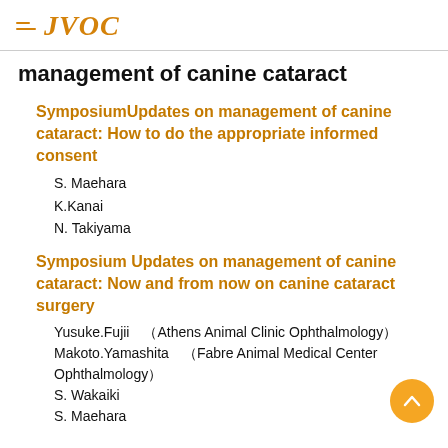JVOC
management of canine cataract
SymposiumUpdates on management of canine cataract: How to do the appropriate informed consent
S. Maehara
K.Kanai
N. Takiyama
Symposium Updates on management of canine cataract: Now and from now on canine cataract surgery
Yusuke.Fujii　（Athens Animal Clinic Ophthalmology）
Makoto.Yamashita　（Fabre Animal Medical Center Ophthalmology）
S. Wakaiki
S. Maehara